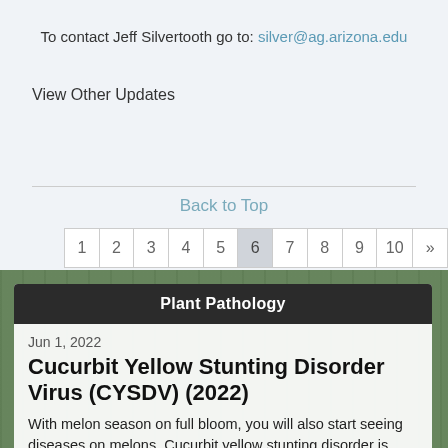To contact Jeff Silvertooth go to: silver@ag.arizona.edu
View Other Updates
| 1 | 2 | 3 | 4 | 5 | 6 | 7 | 8 | 9 | 10 | » |
| --- | --- | --- | --- | --- | --- | --- | --- | --- | --- | --- |
Back to Top
Plant Pathology
Jun 1, 2022
Cucurbit Yellow Stunting Disorder Virus (CYSDV) (2022)
With melon season on full bloom, you will also start seeing diseases on melons. Cucurbit yellow stunting disorder is more of a problem on fall melons but they can